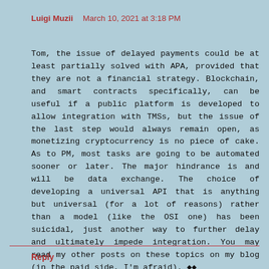Luigi Muzii  March 10, 2021 at 3:18 PM
Tom, the issue of delayed payments could be at least partially solved with APA, provided that they are not a financial strategy. Blockchain, and smart contracts specifically, can be useful if a public platform is developed to allow integration with TMSs, but the issue of the last step would always remain open, as monetizing cryptocurrency is no piece of cake. As to PM, most tasks are going to be automated sooner or later. The major hindrance is and will be data exchange. The choice of developing a universal API that is anything but universal (for a lot of reasons) rather than a model (like the OSI one) has been suicidal, just another way to further delay and ultimately impede integration. You may read my other posts on these topics on my blog (in the paid side, I'm afraid).
Reply